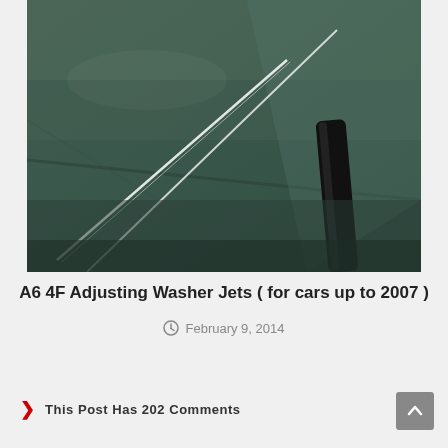[Figure (photo): Close-up photo of car windshield washer jets spraying water streams across a dark-colored car hood, with the windshield wiper visible on the right side.]
A6 4F Adjusting Washer Jets ( for cars up to 2007 )
February 9, 2014
This Post Has 202 Comments